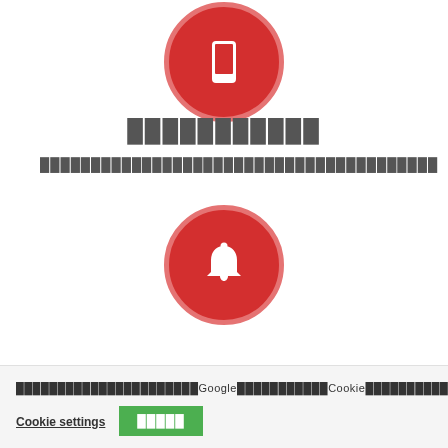[Figure (illustration): Red circle with white smartphone icon]
███████████
███████████████████████████████████████
[Figure (illustration): Red circle with white bell/notification icon]
███████████████████Google███████████Cookie███████████████████████Cookie████████████████
Cookie settings
█████